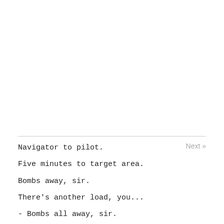Navigator to pilot.
Five minutes to target area.
Bombs away, sir.
There's another load, you...
- Bombs all away, sir.
Next »